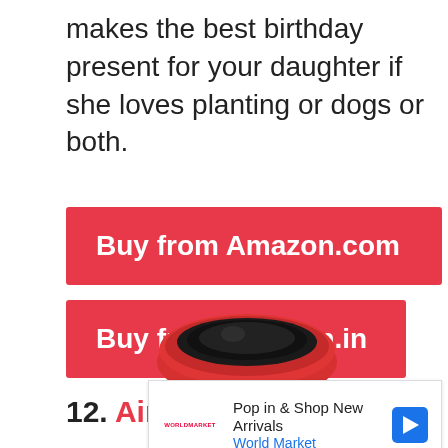makes the best birthday present for your daughter if she loves planting or dogs or both.
[Figure (other): Red button: Buy from Amazon.com]
[Figure (other): Red button: Buy from Amazon.in]
12. Air Fryer
[Figure (photo): Top portion of a red air fryer appliance]
[Figure (infographic): Advertisement banner: Pop in & Shop New Arrivals - World Market, with a blue navigation arrow icon, a play button and close button at the bottom.]